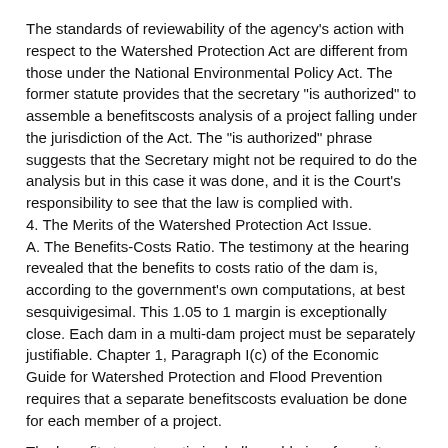The standards of reviewability of the agency's action with respect to the Watershed Protection Act are different from those under the National Environmental Policy Act. The former statute provides that the secretary "is authorized" to assemble a benefitscosts analysis of a project falling under the jurisdiction of the Act. The "is authorized" phrase suggests that the Secretary might not be required to do the analysis but in this case it was done, and it is the Court's responsibility to see that the law is complied with.
4. The Merits of the Watershed Protection Act Issue.
A. The Benefits-Costs Ratio. The testimony at the hearing revealed that the benefits to costs ratio of the dam is, according to the government's own computations, at best sesquivigesimal. This 1.05 to 1 margin is exceptionally close. Each dam in a multi-dam project must be separately justifiable. Chapter 1, Paragraph I(c) of the Economic Guide for Watershed Protection and Flood Prevention requires that a separate benefitscosts evaluation be done for each member of a project.
The benefits to costs ratio is challengable insofar as it utilizes an outmoded discount rate of 3.25%. The Government takes the position that use of a 3.25% interest factor is authorized by the